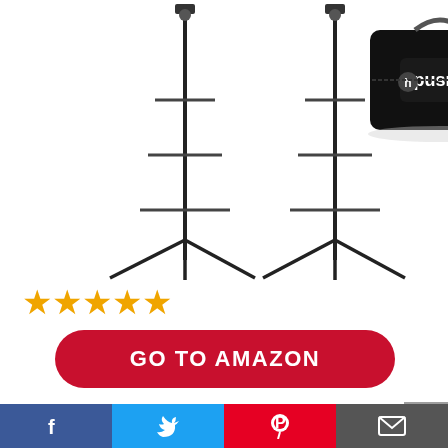[Figure (photo): Two black photography light stands/tripods and a black carry bag with 'hpusn' logo on it]
[Figure (other): Five orange/gold star rating icons]
GO TO AMAZON
Amazon.com
Last update was on: August 28, 2022 4:39 am
【High Quality Material】The softbox is made of high quality PET and assists in good reflecting...